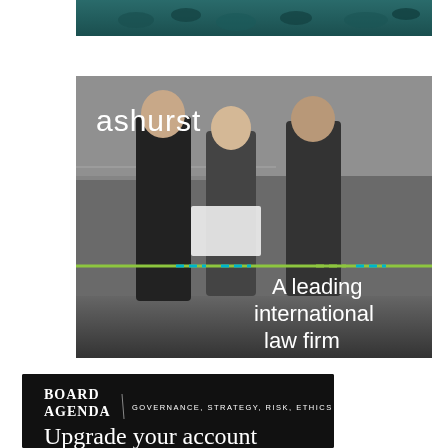[Figure (photo): Top portion of a photo showing people (appears to be aerial or overhead view) in teal/dark teal tones]
[Figure (photo): Ashurst law firm advertisement. Black and white photo of three business professionals reviewing documents near a glass railing. Logo 'ashurst' in white at top left. A horizontal green and teal dashed line across the middle. Text 'A leading international law firm' in white on lower right.]
[Figure (logo): Board Agenda advertisement banner. Dark/black background. 'BOARD AGENDA' logo in white serif font on left. 'GOVERNANCE, STRATEGY, RISK, ETHICS' tagline in white small caps. Bottom area shows partial text 'Upgrade your account' in large white serif font.]